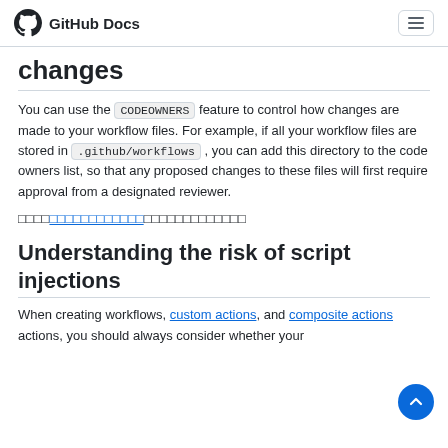GitHub Docs
changes
You can use the CODEOWNERS feature to control how changes are made to your workflow files. For example, if all your workflow files are stored in .github/workflows , you can add this directory to the code owners list, so that any proposed changes to these files will first require approval from a designated reviewer.
[redacted link row with partial text and link]
Understanding the risk of script injections
When creating workflows, custom actions, and composite actions actions, you should always consider whether your